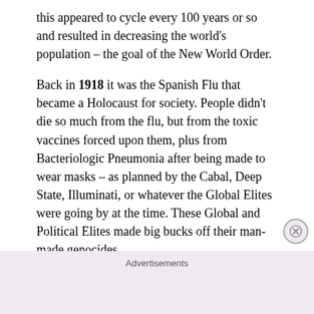this appeared to cycle every 100 years or so and resulted in decreasing the world's population – the goal of the New World Order.
Back in 1918 it was the Spanish Flu that became a Holocaust for society. People didn't die so much from the flu, but from the toxic vaccines forced upon them, plus from Bacteriologic Pneumonia after being made to wear masks – as planned by the Cabal, Deep State, Illuminati, or whatever the Global Elites were going by at the time. These Global and Political Elites made big bucks off their man-made genocides.
Sound familiar? Medical journals define Covid as a
Advertisements